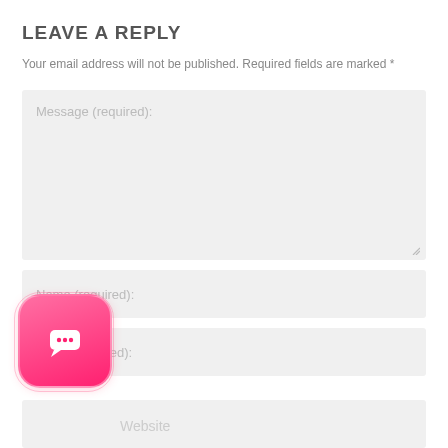LEAVE A REPLY
Your email address will not be published. Required fields are marked *
[Figure (screenshot): Message (required) textarea form field with light gray background]
[Figure (screenshot): Name (required) input form field with light gray background]
[Figure (screenshot): Email (required) input form field with light gray background]
[Figure (illustration): Pink chat bubble app icon with white speech bubble icon, rounded square shape]
Website